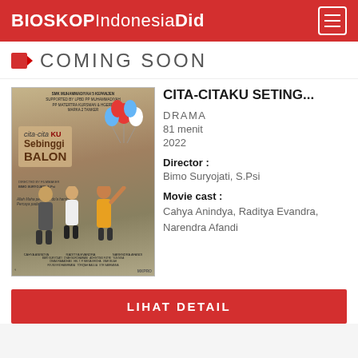BIOSKOP Indonesia Did
COMING SOON
[Figure (photo): Movie poster for 'Cita-Citaku Sebinggi Balon' showing three young characters, colorful balloons, and production credits]
CITA-CITAKU SETING...
DRAMA
81 menit
2022
Director :
Bimo Suryojati, S.Psi
Movie cast :
Cahya Anindya, Raditya Evandra, Narendra Afandi
LIHAT DETAIL